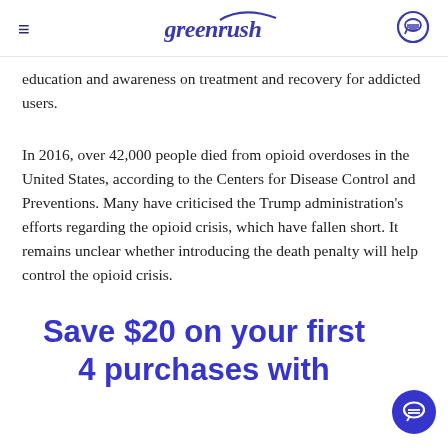greenrush
education and awareness on treatment and recovery for addicted users.
In 2016, over 42,000 people died from opioid overdoses in the United States, according to the Centers for Disease Control and Preventions. Many have criticised the Trump administration's efforts regarding the opioid crisis, which have fallen short. It remains unclear whether introducing the death penalty will help control the opioid crisis.
Save $20 on your first 4 purchases with